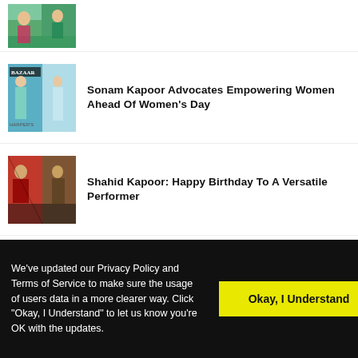[Figure (photo): Partial thumbnail of a person on grass, cut at top]
[Figure (photo): Sonam Kapoor on Bazaar magazine cover in teal gown]
Sonam Kapoor Advocates Empowering Women Ahead Of Women’s Day
[Figure (photo): Shahid Kapoor in warrior/action movie roles]
Shahid Kapoor: Happy Birthday To A Versatile Performer
[Figure (photo): Sourav Ganguly and Karan Johar side by side]
Sourav Ganguly Biopic: Karan Johar To Collaborate With Sourav Ganguly?
We’ve updated our Privacy Policy and Terms of Service to make sure the usage of users data in a more clearer way. Click "Okay, I Understand" to let us know you’re OK with the updates.
Okay, I Understand